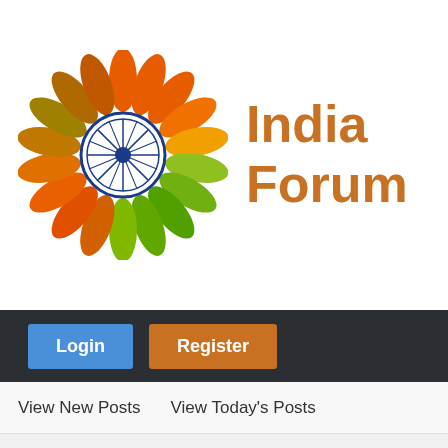[Figure (logo): India Forum logo: colorful flower with orange, green, and white petals with Ashoka Chakra in center, next to 'India Forum' text in orange]
India Forum
Login   Register
View New Posts   View Today's Posts
Forums › General Topics › Member Articles ▼ › The New Instalm
Pages (2): « Previous  1  2
The New Instalment Of The Bofor's Soap Opera!